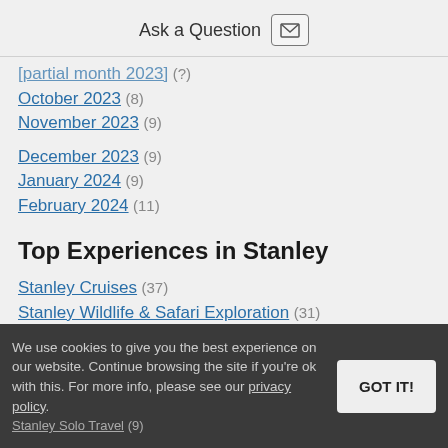Ask a Question
[partial] (?)
October 2023 (8)
November 2023 (9)
December 2023 (9)
January 2024 (9)
February 2024 (11)
Top Experiences in Stanley
Stanley Cruises (37)
Stanley Wildlife & Safari Exploration (31)
[partial, cut off]
We use cookies to give you the best experience on our website. Continue browsing the site if you're ok with this. For more info, please see our privacy policy.